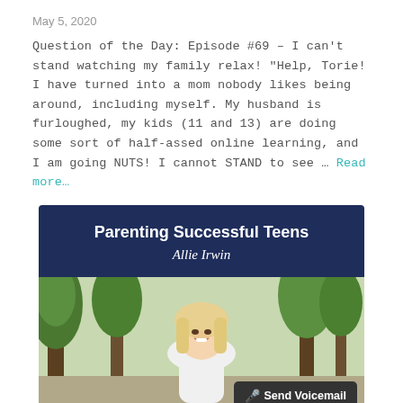May 5, 2020
Question of the Day: Episode #69 – I can't stand watching my family relax! "Help, Torie! I have turned into a mom nobody likes being around, including myself. My husband is furloughed, my kids (11 and 13) are doing some sort of half-assed online learning, and I am going NUTS! I cannot STAND to see … Read more…
[Figure (other): Podcast card for 'Parenting Successful Teens' by Allie Irwin. Dark navy header with title and author name in white. Below is a photo of a blonde woman smiling outdoors with trees in background. A 'Send Voicemail' button appears in the bottom right corner.]